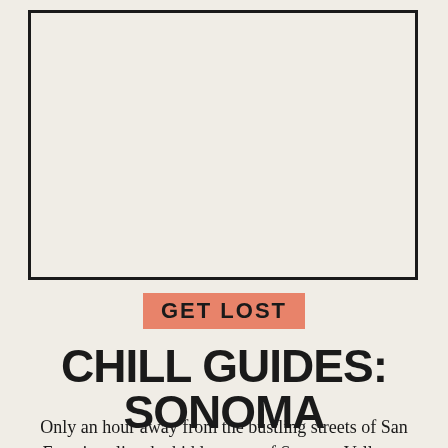[Figure (other): Empty image placeholder box with black border]
GET LOST
CHILL GUIDES: SONOMA
Only an hour away from the bustling streets of San Fransisco lies the hidden gem of Sonoma Valley, a place known mostly for being at the center of the wine